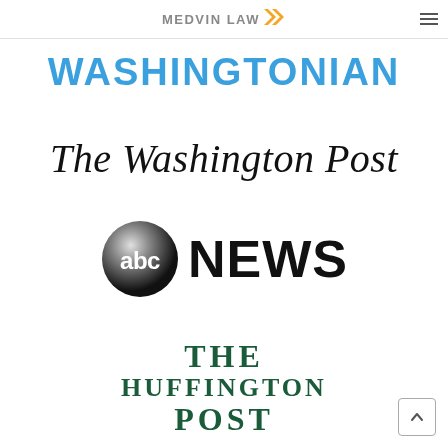[Figure (logo): Medvin Law logo with text 'MEDVIN LAW' and orange double chevron arrow, with hamburger menu icon in top right]
[Figure (logo): Washingtonian magazine logo in bold blue uppercase letters: WASHINGTONIAN]
[Figure (logo): The Washington Post logo in blackletter/old English italic serif font]
[Figure (logo): ABC News logo with ABC globe icon and NEWS text in bold black]
[Figure (logo): The Huffington Post logo in dark green serif bold uppercase text: THE HUFFINGTON POST]